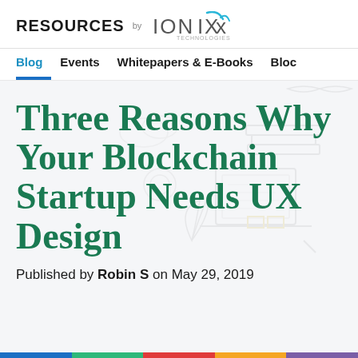RESOURCES by IONIXX Technologies
Blog   Events   Whitepapers & E-Books   Bloc
[Figure (illustration): Light gray outline illustration of technology/design items: laptop, books, plants, gears, design tools in background]
Three Reasons Why Your Blockchain Startup Needs UX Design
Published by Robin S on May 29, 2019